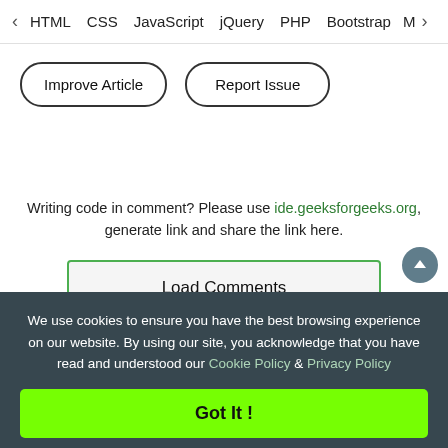< HTML   CSS   JavaScript   jQuery   PHP   Bootstrap   M>
Improve Article
Report Issue
Writing code in comment? Please use ide.geeksforgeeks.org, generate link and share the link here.
Load Comments
We use cookies to ensure you have the best browsing experience on our website. By using our site, you acknowledge that you have read and understood our Cookie Policy & Privacy Policy
Got It !